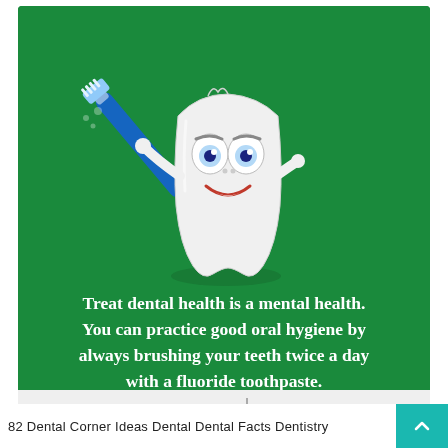[Figure (illustration): Cartoon smiling tooth character holding a blue toothbrush on a green background, with Rajan Dental and Malo Clinic logos at the bottom of the card.]
Treat dental health is a mental health. You can practice good oral hygiene by always brushing your teeth twice a day with a fluoride toothpaste.
82 Dental Corner Ideas Dental Dental Facts Dentistry